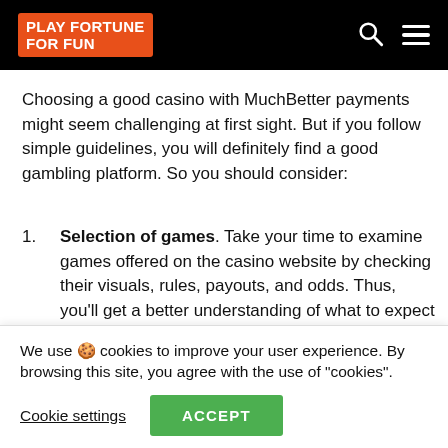PLAY FORTUNE FOR FUN
Choosing a good casino with MuchBetter payments might seem challenging at first sight. But if you follow simple guidelines, you will definitely find a good gambling platform. So you should consider:
Selection of games. Take your time to examine games offered on the casino website by checking their visuals, rules, payouts, and odds. Thus, you'll get a better understanding of what to expect from a
We use 🍪 cookies to improve your user experience. By browsing this site, you agree with the use of "cookies".
Cookie settings   ACCEPT